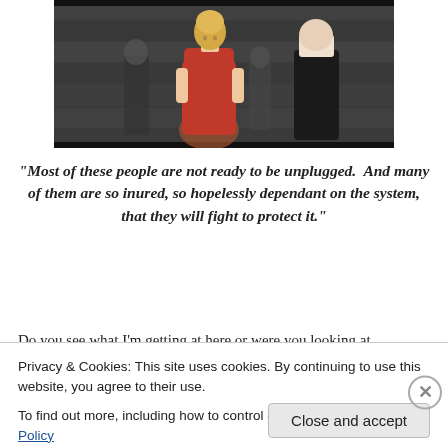[Figure (photo): Screenshot from a movie scene showing a woman in a red dress in the foreground and a man in black in the background, with a dark stone or concrete wall.]
“Most of these people are not ready to be unplugged.  And many of them are so inured, so hopelessly dependant on the system, that they will fight to protect it.”
Do you see what I’m getting at here or were you looking at
Privacy & Cookies: This site uses cookies. By continuing to use this website, you agree to their use.
To find out more, including how to control cookies, see here: Cookie Policy